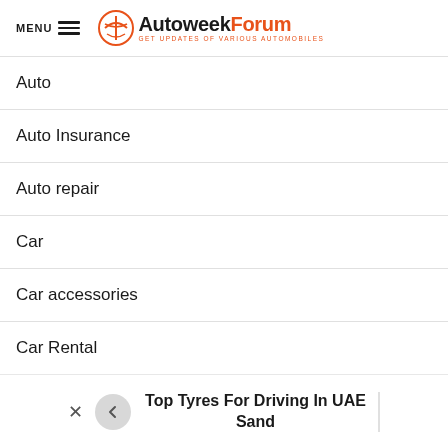MENU AutoweekForum GET UPDATES OF VARIOUS AUTOMOBILES
Auto
Auto Insurance
Auto repair
Car
Car accessories
Car Rental
Driving School
Top Tyres For Driving In UAE Sand